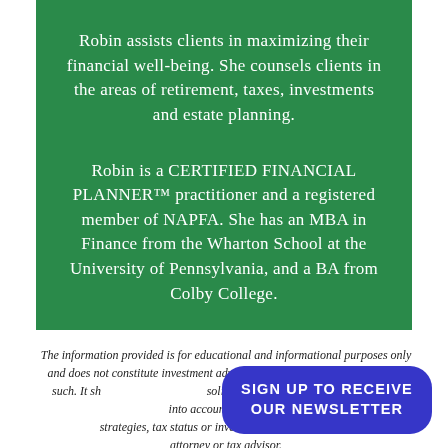Robin assists clients in maximizing their financial well-being. She counsels clients in the areas of retirement, taxes, investments and estate planning.
Robin is a CERTIFIED FINANCIAL PLANNER™ practitioner and a registered member of NAPFA. She has an MBA in Finance from the Wharton School at the University of Pennsylvania, and a BA from Colby College.
The information provided is for educational and informational purposes only and does not constitute investment advice and it should not be relied on as such. It sh... solicitation to buy or an offer to sell a... into account any investor's particular... strategies, tax status or investment ho... your attorney or tax advisor.
SIGN UP TO RECEIVE OUR NEWSLETTER